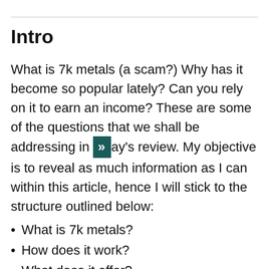Intro
What is 7k metals (a scam?) Why has it become so popular lately? Can you rely on it to earn an income? These are some of the questions that we shall be addressing in today's review. My objective is to reveal as much information as I can within this article, hence I will stick to the structure outlined below:
What is 7k metals?
How does it work?
What does it offer?